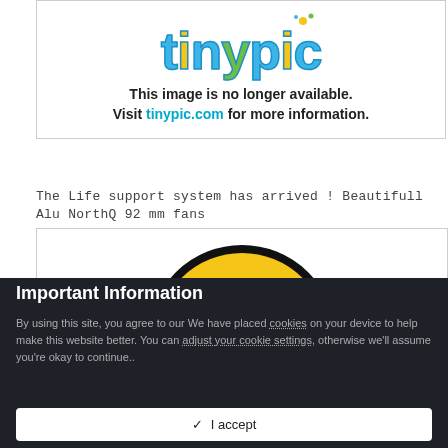[Figure (illustration): Tinypic logo with colorful bubble letters in blue, yellow, and green]
This image is no longer available.
Visit tinypic.com for more information.
The Life support system has arrived ! Beautifull Alu NorthQ 92 mm fans
[Figure (illustration): Yellow sad/crying emoji face with orange arms, black outline, on white background]
Important Information
By using this site, you agree to our We have placed cookies on your device to help make this website better. You can adjust your cookie settings, otherwise we'll assume you're okay to continue..
✓ I accept